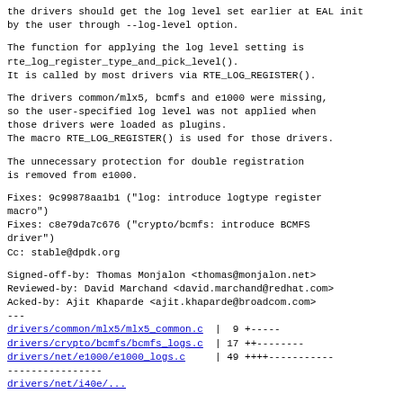the drivers should get the log level set earlier at EAL init
by the user through --log-level option.
The function for applying the log level setting is
rte_log_register_type_and_pick_level().
It is called by most drivers via RTE_LOG_REGISTER().
The drivers common/mlx5, bcmfs and e1000 were missing,
so the user-specified log level was not applied when
those drivers were loaded as plugins.
The macro RTE_LOG_REGISTER() is used for those drivers.
The unnecessary protection for double registration
is removed from e1000.
Fixes: 9c99878aa1b1 ("log: introduce logtype register
macro")
Fixes: c8e79da7c676 ("crypto/bcmfs: introduce BCMFS
driver")
Cc: stable@dpdk.org
Signed-off-by: Thomas Monjalon <thomas@monjalon.net>
Reviewed-by: David Marchand <david.marchand@redhat.com>
Acked-by: Ajit Khaparde <ajit.khaparde@broadcom.com>
---
drivers/common/mlx5/mlx5_common.c  |  9 +-----
drivers/crypto/bcmfs/bcmfs_logs.c  | 17 ++--------
drivers/net/e1000/e1000_logs.c     | 49 ++++-----------
----------------
drivers/net/i40e/...